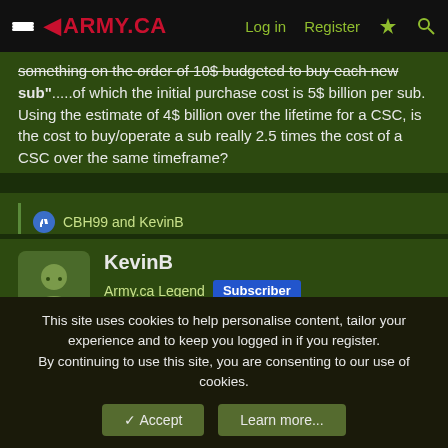ARMY.CA — Log in | Register
something on the order of 10$ budgeted to buy each new sub".....of which the initial purchase cost is 5$ billion per sub. Using the estimate of 4$ billion over the lifetime for a CSC, is the cost to buy/operate a sub really 2.5 times the cost of a CSC over the same timeframe?
CBH99 and KevinB
KevinB
Army.ca Legend Subscriber
2 Nov 2021 #907
Czech_pivo said:
This site uses cookies to help personalise content, tailor your experience and to keep you logged in if you register. By continuing to use this site, you are consenting to our use of cookies.